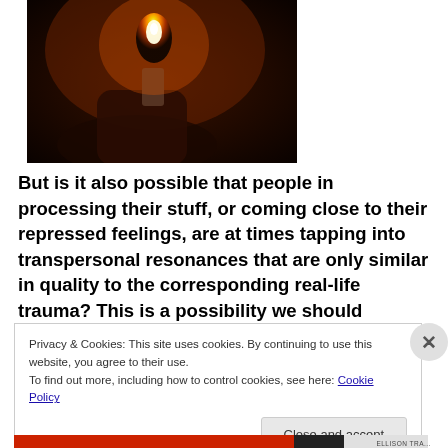[Figure (photo): Dark photo of a person holding a flame or lighter, with warm orange glow against a dark background]
But is it also possible that people in processing their stuff, or coming close to their repressed feelings, are at times tapping into transpersonal resonances that are only similar in quality to the corresponding real-life trauma? This is a possibility we should consider;
Privacy & Cookies: This site uses cookies. By continuing to use this website, you agree to their use.
To find out more, including how to control cookies, see here: Cookie Policy